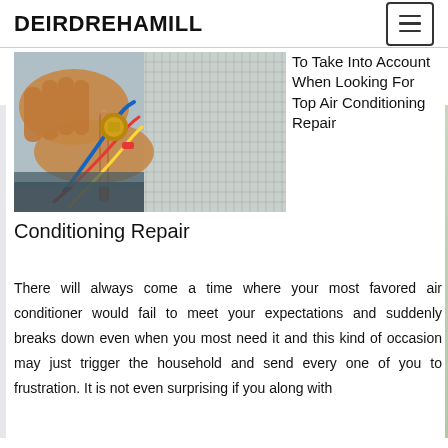DEIRDREHAMILL
[Figure (photo): Hands working on air conditioning unit components, showing copper pipes, valves, and wiring on an HVAC system]
To Take Into Account When Looking For Top Air Conditioning Repair
There will always come a time where your most favored air conditioner would fail to meet your expectations and suddenly breaks down even when you most need it and this kind of occasion may just trigger the household and send every one of you to frustration. It is not even surprising if you along with